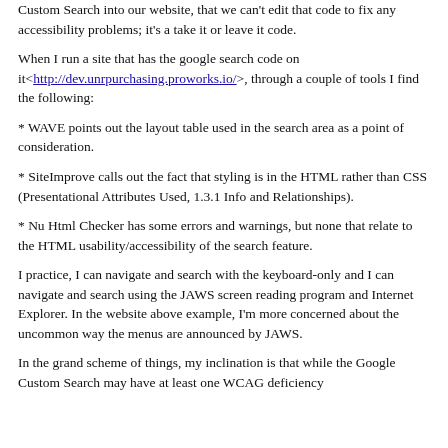Custom Search into our website, that we can't edit that code to fix any accessibility problems; it's a take it or leave it code.
When I run a site that has the google search code on it<http://dev.unrpurchasing.proworks.io/>, through a couple of tools I find the following:
* WAVE points out the layout table used in the search area as a point of consideration.
* SiteImprove calls out the fact that styling is in the HTML rather than CSS (Presentational Attributes Used, 1.3.1 Info and Relationships).
* Nu Html Checker has some errors and warnings, but none that relate to the HTML usability/accessibility of the search feature.
I practice, I can navigate and search with the keyboard-only and I can navigate and search using the JAWS screen reading program and Internet Explorer. In the website above example, I'm more concerned about the uncommon way the menus are announced by JAWS.
In the grand scheme of things, my inclination is that while the Google Custom Search may have at least one WCAG deficiency